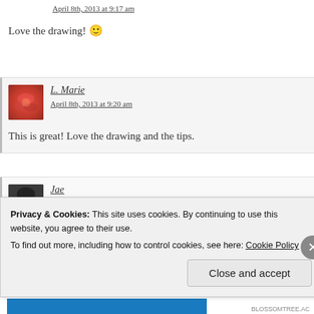April 8th, 2013 at 9:17 am
Love the drawing! 🙂
[Figure (photo): Avatar of L. Marie — red flower/fabric closeup photo]
L. Marie
April 8th, 2013 at 9:20 am
This is great! Love the drawing and the tips.
[Figure (photo): Avatar of Jae — person with dark hair photo]
Jae
April 8th, 2013 at 1:58 pm
I LOVE THIS! You are totally going to have to write a story about
Maybe a hide back when you need a break from the WIP? So cute
Privacy & Cookies: This site uses cookies. By continuing to use this website, you agree to their use.
To find out more, including how to control cookies, see here: Cookie Policy
Close and accept